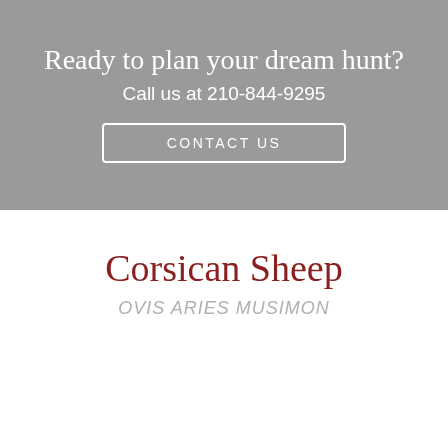Ready to plan your dream hunt?
Call us at 210-844-9295
CONTACT US
Corsican Sheep
OVIS ARIES MUSIMON